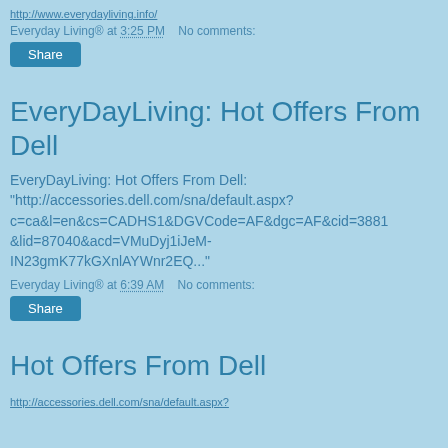http://www.everydayliving.info/
Everyday Living® at 3:25 PM    No comments:
Share
EveryDayLiving: Hot Offers From Dell
EveryDayLiving: Hot Offers From Dell: "http://accessories.dell.com/sna/default.aspx?c=ca&l=en&cs=CADHS1&DGVCode=AF&dgc=AF&cid=3881&lid=87040&acd=VMuDyj1iJeM-IN23gmK77kGXnlAYWnr2EQ..."
Everyday Living® at 6:39 AM    No comments:
Share
Hot Offers From Dell
http://accessories.dell.com/sna/default.aspx?